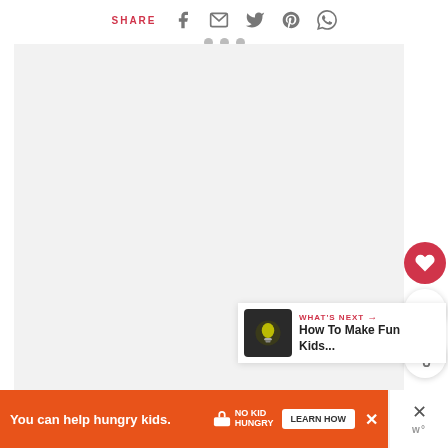SHARE (social share icons: Facebook, Email, Twitter, Pinterest, WhatsApp)
[Figure (other): Blank/loading image area with three small dots at top indicating a slideshow or image carousel]
[Figure (other): Heart/like button (red circle with white heart icon), count bubble showing '1', and share button (white circle with share icon) — vertical sidebar]
[Figure (other): WHAT'S NEXT panel with thumbnail (lightbulb on dark background) and text 'How To Make Fun Kids...']
[Figure (other): Orange advertisement banner: 'You can help hungry kids.' with No Kid Hungry logo and LEARN HOW button, with close X]
[Figure (other): Right side overlay with X close button and 'w' logo mark]